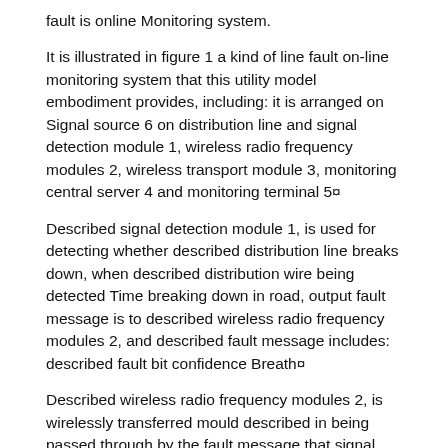fault is online Monitoring system.
It is illustrated in figure 1 a kind of line fault on-line monitoring system that this utility model embodiment provides, including: it is arranged on Signal source 6 on distribution line and signal detection module 1, wireless radio frequency modules 2, wireless transport module 3, monitoring central server 4 and monitoring terminal 5¤
Described signal detection module 1, is used for detecting whether described distribution line breaks down, when described distribution wire being detected Time breaking down in road, output fault message is to described wireless radio frequency modules 2, and described fault message includes: described fault bit confidence Breath¤
Described wireless radio frequency modules 2, is wirelessly transferred mould described in being passed through by the fault message that signal detection module 1 exports Block 3 transmits to monitoring central server 4¤
Described monitoring central server 4, is used for receiving described fault message, is additionally operable to store described signal detection module 1 Installation site